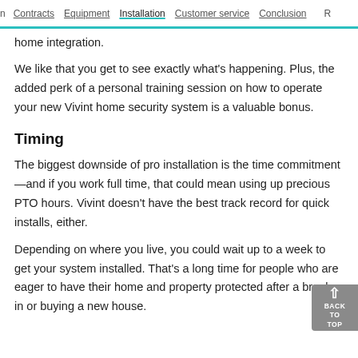n  Contracts  Equipment  Installation  Customer service  Conclusion  R
home integration.
We like that you get to see exactly what's happening. Plus, the added perk of a personal training session on how to operate your new Vivint home security system is a valuable bonus.
Timing
The biggest downside of pro installation is the time commitment—and if you work full time, that could mean using up precious PTO hours. Vivint doesn't have the best track record for quick installs, either.
Depending on where you live, you could wait up to a week to get your system installed. That's a long time for people who are eager to have their home and property protected after a break-in or buying a new house.